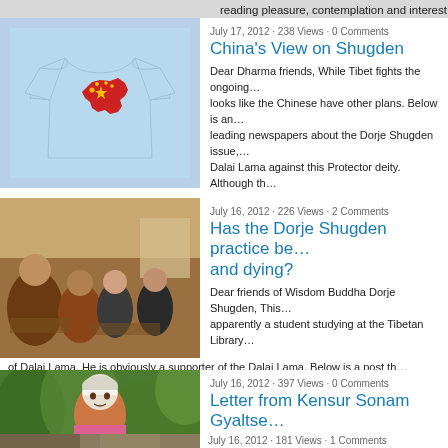reading pleasure, contemplation and interest is an a…
[Figure (photo): Light blue t-shirt with red map of China and star]
July 17, 2012 · 238 Views · 0 Comments
China's View on Shugden
Dear Dharma friends, While Tibet fights the ongoing… looks like the Chinese have other plans. Below is an… leading newspapers about the Dorje Shugden issue,… Dalai Lama against this Protector deity. Although th…
[Figure (photo): Monks and people seated in a room]
July 16, 2012 · 226 Views · 2 Comments
Has the Dorje Shugden practice be… and dying?
Dear friends of Wisdom Buddha Dorje Shugden, This… apparently a student studying at the Tibetan Library… of Dalai Lama. He is obviously a supporter of the Dalai Lama. Below is a post th… forum of DorjeShugden.com which we would like…
[Figure (photo): Elderly person in pink clothing among green plants]
July 16, 2012 · 397 Views · 0 Comments
Letter from Kensur Sonam Gyaltse…
An Open Letter to Gelug Monasteries & Sangha rega… Monastery (Lower Tantric College) Kensur Sonam G… Buddhists and Tibetan Government-in-exile Dear all… letter sent December 30, 2010, and received on Janu… letter asked me to give up the…
[Figure (photo): Another article thumbnail image]
July 16, 2012 · 181 Views · 1 Comments